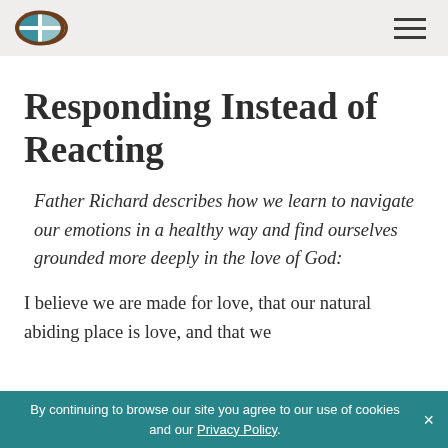Responding Instead of Reacting
Father Richard describes how we learn to navigate our emotions in a healthy way and find ourselves grounded more deeply in the love of God:
I believe we are made for love, that our natural abiding place is love, and that we
By continuing to browse our site you agree to our use of cookies and our Privacy Policy.